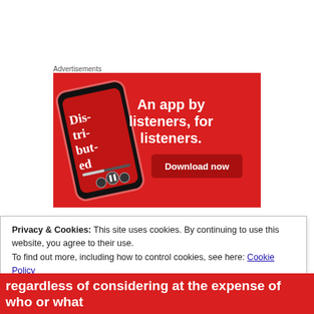Advertisements
[Figure (illustration): Red advertisement banner for a podcast app showing a smartphone with 'Distributed' podcast displayed on screen, bold white text reading 'An app by listeners, for listeners.' and a dark red 'Download now' button.]
Privacy & Cookies: This site uses cookies. By continuing to use this website, you agree to their use.
To find out more, including how to control cookies, see here: Cookie Policy
Close and accept
regardless of considering at the expense of who or what